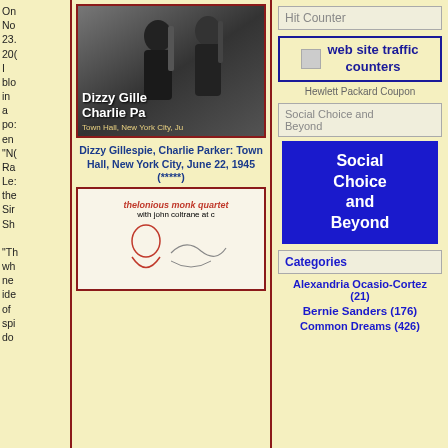On No 23. 20( I blo in a po: en "N( Ra Le: the Sir Sh
[Figure (photo): Black and white photo of Dizzy Gillespie and Charlie Parker holding saxophones]
Dizzy Gillespie, Charlie Parker: Town Hall, New York City, June 22, 1945 (*****)
[Figure (photo): Album cover: thelonious monk quartet with john coltrane at Carnegie Hall]
"Th wh ne ide of spi do
Hit Counter
[Figure (screenshot): web site traffic counters button with blue border]
Hewlett Packard Coupon
Social Choice and Beyond
[Figure (illustration): Blue banner reading Social Choice and Beyond]
Categories
Alexandria Ocasio-Cortez (21)
Bernie Sanders (176)
Common Dreams (426)